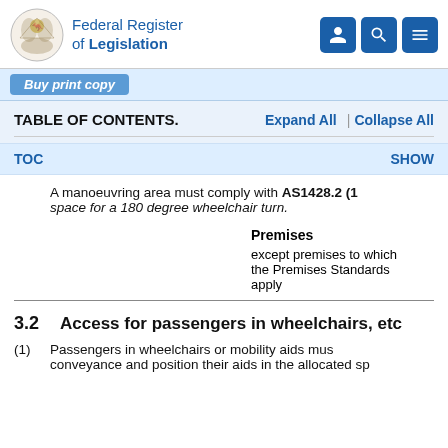Federal Register of Legislation
Buy print copy
TABLE OF CONTENTS.
TOC   SHOW
A manoeuvring area must comply with AS1428.2 (1
space for a 180 degree wheelchair turn.
|  | Premises |
| --- | --- |
|  | except premises to which the Premises Standards apply |
3.2   Access for passengers in wheelchairs, etc
(1)   Passengers in wheelchairs or mobility aids must conveyance and position their aids in the allocated sp